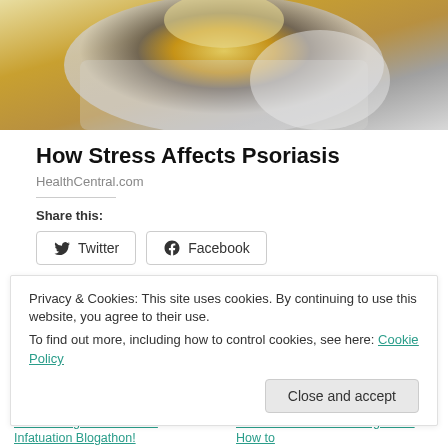[Figure (photo): Person in yellow sweater sitting on a couch, hugging their knees, viewed from above/side. Suggests stress or anxiety.]
How Stress Affects Psoriasis
HealthCentral.com
Share this:
Twitter
Facebook
Loading...
Privacy & Cookies: This site uses cookies. By continuing to use this website, you agree to their use.
To find out more, including how to control cookies, see here: Cookie Policy
Close and accept
Announcing the 2022 Rec Infatuation Blogathon!
2022 Rec Infatuation Blogathon: How to